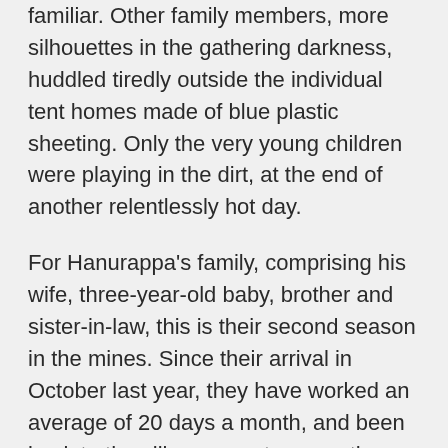familiar. Other family members, more silhouettes in the gathering darkness, huddled tiredly outside the individual tent homes made of blue plastic sheeting. Only the very young children were playing in the dirt, at the end of another relentlessly hot day.
For Hanurappa's family, comprising his wife, three-year-old baby, brother and sister-in-law, this is their second season in the mines. Since their arrival in October last year, they have worked an average of 20 days a month, and been back to the village once to repay the moneylender and give money to their elderly parents who are looking after their older children left behind at home.
With a surfeit of labour, work in the mines is never certain. Shivamma, who grew up in Mumbai, but moved to an Andhra Pradesh village when she got married eight years ago, said while her mother-in-law and she have managed to get jobs every two or so days, her husband has been